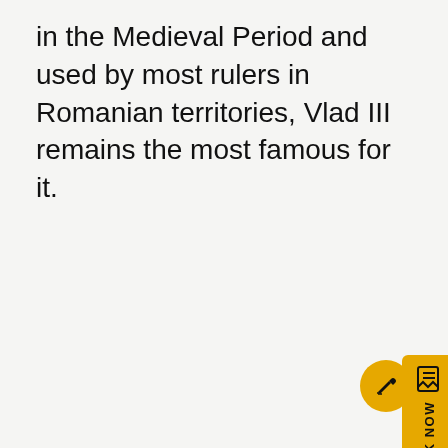in the Medieval Period and used by most rulers in Romanian territories, Vlad III remains the most famous for it.
[Figure (other): Yellow 'BOOK NOW' vertical tab button with a document/bookmark icon, positioned on the right edge of the page]
[Figure (other): Round yellow edit/pencil icon button in the bottom-right corner]